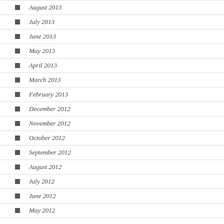August 2013
July 2013
June 2013
May 2013
April 2013
March 2013
February 2013
December 2012
November 2012
October 2012
September 2012
August 2012
July 2012
June 2012
May 2012